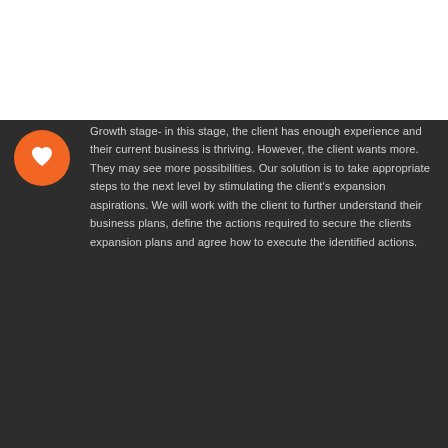[Figure (logo): Bridging Gaps Advisory logo with orange and grey plus/arrow icon, text 'Bridging Gaps Advisory' and tagline 'Together we unlock your potential']
Growth stage- in this stage, the client has enough experience and their current business is thriving. However, the client wants more. They may see more possibilities. Our solution is to take appropriate steps to the next level by stimulating the client's expansion aspirations. We will work with the client to further understand their business plans, define the actions required to secure the clients expansion plans and agree how to execute the identified actions.